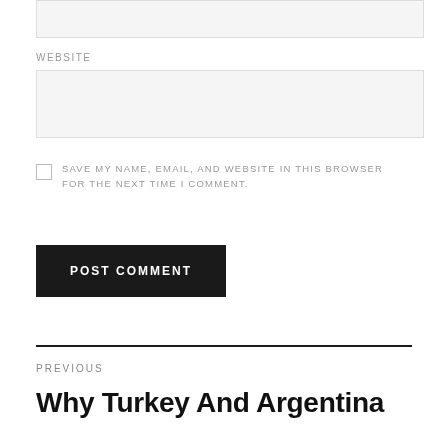[Figure (other): Empty text input field with light gray background]
WEBSITE
[Figure (other): Empty website input field with light gray background]
SAVE MY NAME, EMAIL, AND WEBSITE IN THIS BROWSER FOR THE NEXT TIME I COMMENT.
POST COMMENT
PREVIOUS
Why Turkey And Argentina